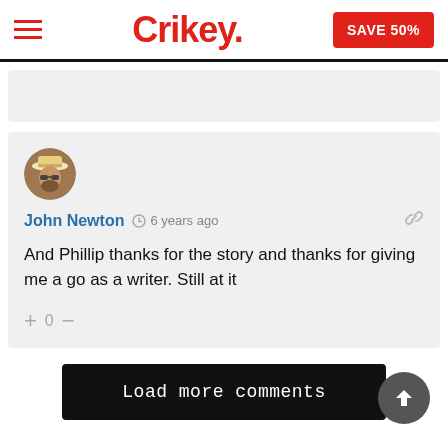Crikey. SAVE 50%
John Newton  6 years ago
And Phillip thanks for the story and thanks for giving me a go as a writer. Still at it
+ 0 -
Load more comments